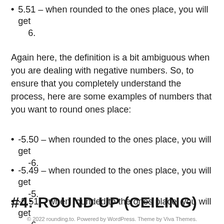5.51 – when rounded to the ones place, you will get 6.
Again here, the definition is a bit ambiguous when you are dealing with negative numbers. So, to ensure that you completely understand the process, here are some examples of numbers that you want to round ones place:
-5.50 – when rounded to the ones place, you will get -6.
-5.49 – when rounded to the ones place, you will get -5.
-5.51 – when rounded to the ones place, you will get -6.
#4: ROUND UP (CEILING)
© 2022 rounding.to. Powered by WordPress. Theme by Viva Themes.